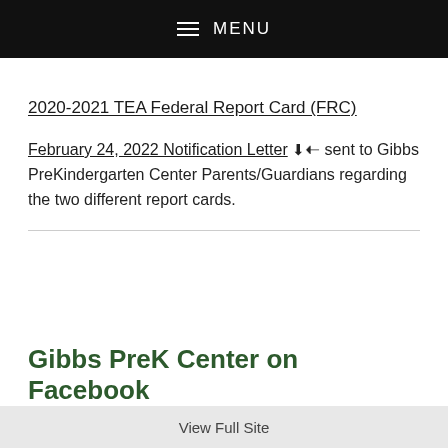MENU
2020-2021 TEA Federal Report Card (FRC)
February 24, 2022 Notification Letter [icon] sent to Gibbs PreKindergarten Center Parents/Guardians regarding the two different report cards.
Gibbs PreK Center on Facebook
View Full Site